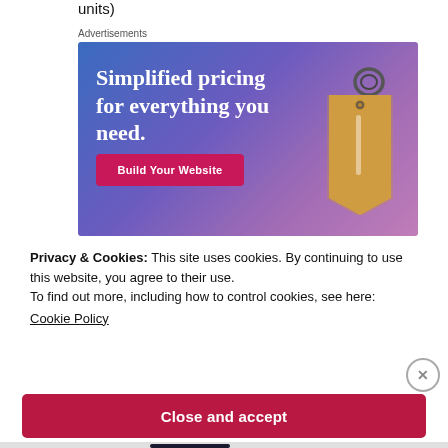units)
Advertisements
[Figure (illustration): Advertisement banner with blue-purple gradient background, text 'Simplified pricing for everything you need.', a pink 'Build Your Website' button, and a golden price tag illustration on the right.]
Privacy & Cookies: This site uses cookies. By continuing to use this website, you agree to their use.
To find out more, including how to control cookies, see here:
Cookie Policy
Close and accept